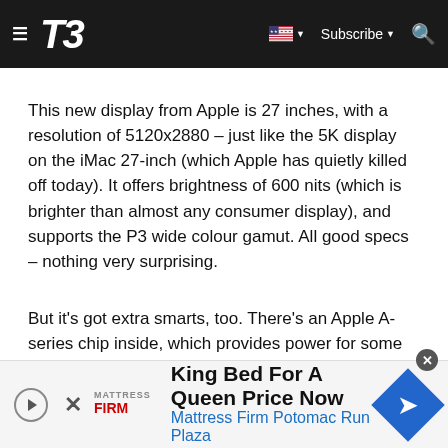T3 — Subscribe
This new display from Apple is 27 inches, with a resolution of 5120x2880 – just like the 5K display on the iMac 27-inch (which Apple has quietly killed off today). It offers brightness of 600 nits (which is brighter than almost any consumer display), and supports the P3 wide colour gamut. All good specs – nothing very surprising.
But it's got extra smarts, too. There's an Apple A-series chip inside, which provides power for some extra tricks. There's True Tone support, making it easier on the eyes; there's a Centre Stage webcam, which means it has an
[Figure (other): Advertisement banner: Mattress Firm — King Bed For A Queen Price Now, Mattress Firm Potomac Run Plaza]